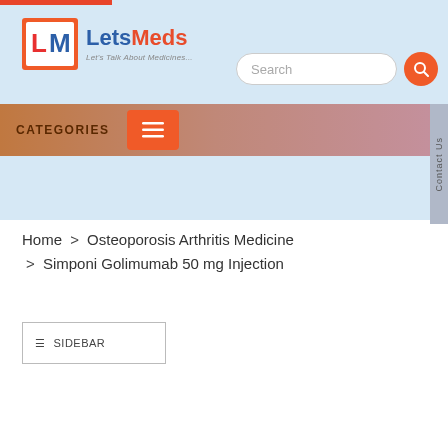[Figure (logo): LetsMeds logo with LM icon and tagline Let's Talk About Medicines...]
Search
CATEGORIES
Contact Us
Home > Osteoporosis Arthritis Medicine > Simponi Golimumab 50 mg Injection
≡ SIDEBAR